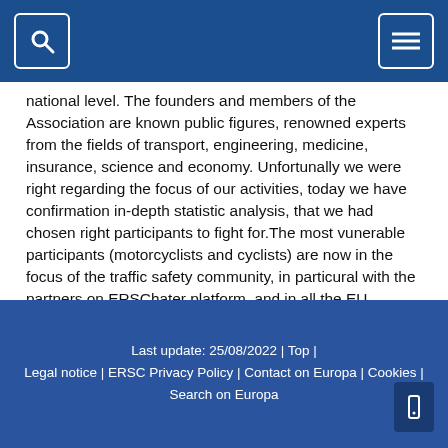[Navigation bar with search and menu buttons]
national level. The founders and members of the Association are known public figures, renowned experts from the fields of transport, engineering, medicine, insurance, science and economy. Unfortunally we were right regarding the focus of our activities, today we have confirmation in-depth statistic analysis, that we had chosen right participants to fight for.The most vunerable participants (motorcyclists and cyclists) are now in the focus of the traffic safety community, in particural with the partners on ERSChater platform, and in all the EU countries , worldwide also. That confirms to us that we had set goals right and gives us even more incentives and a will to work even more harder, until we fulfill „Vision 0".
Last update: 25/08/2022 | Top | Legal notice | ERSC Privacy Policy | Contact on Europa | Cookies | Search on Europa